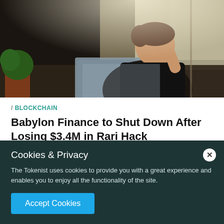[Figure (photo): Man in black t-shirt sitting at a desk working on a laptop, looking stressed, with plants and a window visible in the background.]
/ BLOCKCHAIN
Babylon Finance to Shut Down After Losing $3.4M in Rari Hack
Cookies & Privacy
The Tokenist uses cookies to provide you with a great experience and enables you to enjoy all the functionality of the site.
Accept Cookies